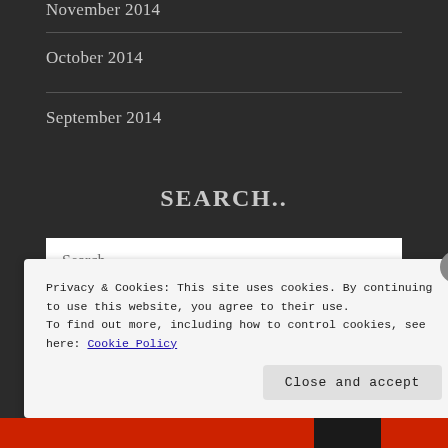November 2014
October 2014
September 2014
SEARCH..
Search ...
Privacy & Cookies: This site uses cookies. By continuing to use this website, you agree to their use.
To find out more, including how to control cookies, see here: Cookie Policy
Close and accept